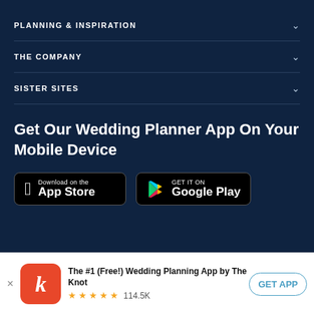PLANNING & INSPIRATION
THE COMPANY
SISTER SITES
Get Our Wedding Planner App On Your Mobile Device
[Figure (other): Download on the App Store button (black rounded rectangle with Apple logo)]
[Figure (other): GET IT ON Google Play button (black rounded rectangle with Google Play triangle logo)]
The #1 (Free!) Wedding Planning App by The Knot
★★★★★ 114.5K
GET APP